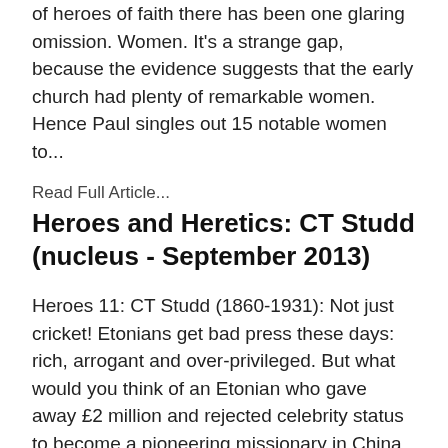of heroes of faith there has been one glaring omission. Women. It's a strange gap, because the evidence suggests that the early church had plenty of remarkable women. Hence Paul singles out 15 notable women to...
Read Full Article...
Heroes and Heretics: CT Studd (nucleus - September 2013)
Heroes 11: CT Studd (1860-1931): Not just cricket! Etonians get bad press these days: rich, arrogant and over-privileged. But what would you think of an Etonian who gave away £2 million and rejected celebrity status to become a pioneering missionary in China, India and Congo? Chances are, you've never heard of...